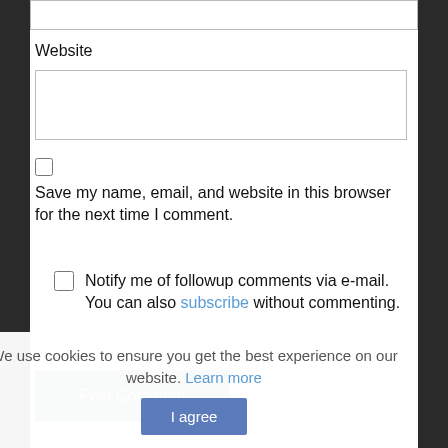Website
Save my name, email, and website in this browser for the next time I comment.
Notify me of followup comments via e-mail. You can also subscribe without commenting.
Post Comment
We use cookies to ensure you get the best experience on our website. Learn more
I agree